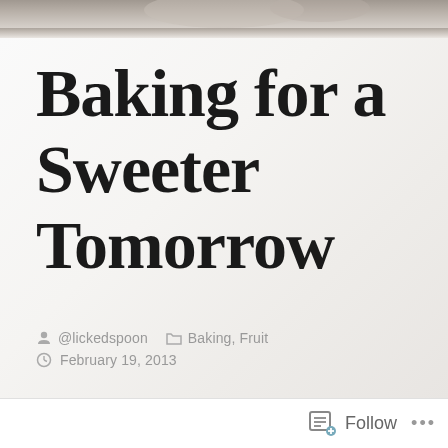[Figure (photo): Top strip showing a blurred photo of baking items (bowl or cup), cropped to a narrow horizontal strip at the top of the page.]
Baking for a Sweeter Tomorrow
@lickedspoon   Baking, Fruit   February 19, 2013
Follow  ...